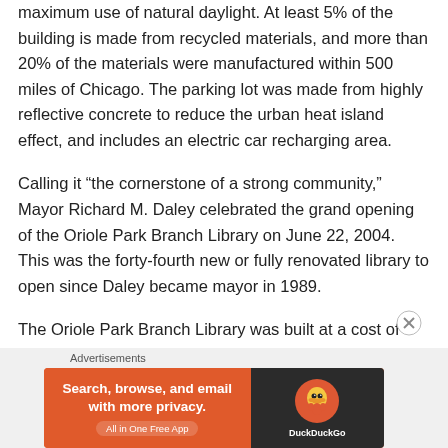maximum use of natural daylight. At least 5% of the building is made from recycled materials, and more than 20% of the materials were manufactured within 500 miles of Chicago. The parking lot was made from highly reflective concrete to reduce the urban heat island effect, and includes an electric car recharging area.
Calling it “the cornerstone of a strong community,” Mayor Richard M. Daley celebrated the grand opening of the Oriole Park Branch Library on June 22, 2004. This was the forty-fourth new or fully renovated library to open since Daley became mayor in 1989.
The Oriole Park Branch Library was built at a cost of
Advertisements
[Figure (other): DuckDuckGo advertisement banner: orange background on left with text 'Search, browse, and email with more privacy. All in One Free App', and dark background on right with DuckDuckGo duck logo and brand name.]